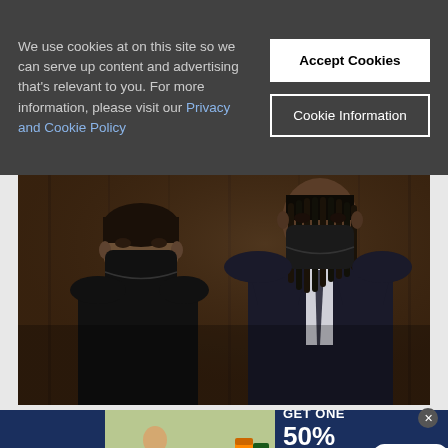We use cookies at on this site so we can serve up content and advertising that's relevant to you. For more information, please visit our Privacy and Cookie Policy
Accept Cookies
Cookie Information
[Figure (photo): Two people standing in what appears to be a courtroom. One person on the left is shorter with dark hair pulled back, wearing a black top and a black face mask. The person on the right is taller, wearing a dark suit with a tie and a dark face mask, with braided/loc hair. The background is dark wood paneling.]
[Figure (photo): Petco advertisement banner: BUY ONE, GET ONE 50% OFF. Help support your dog's joints with a premium supplement. Shows a woman with a golden retriever dog and supplement bottles. SHOP NOW button.]